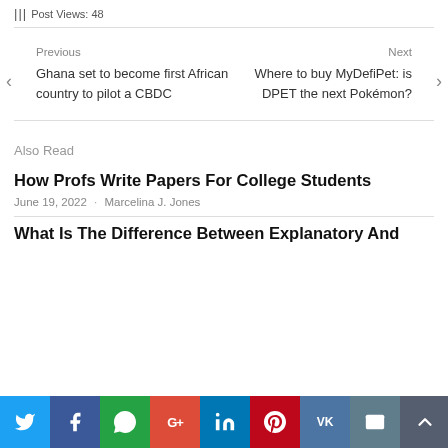Post Views: 48
Previous
Ghana set to become first African country to pilot a CBDC
Next
Where to buy MyDefiPet: is DPET the next Pokémon?
Also Read
How Profs Write Papers For College Students
June 19, 2022 · Marcelina J. Jones
What Is The Difference Between Explanatory And